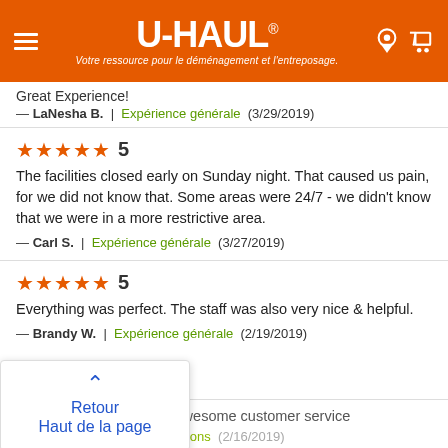[Figure (logo): U-Haul orange header with hamburger menu, U-HAUL logo with registered trademark, French tagline 'Votre ressource pour le déménagement et l'entreposage.', location pin icon and shopping cart icon]
Great Experience!
— LaNesha B.  |  Expérience générale  (3/29/2019)
5
The facilities closed early on Sunday night. That caused us pain, for we did not know that. Some areas were 24/7 - we didn't know that we were in a more restrictive area.
— Carl S.  |  Expérience générale  (3/27/2019)
5
Everything was perfect. The staff was also very nice & helpful.
— Brandy W.  |  Expérience générale  (2/19/2019)
Retour
Haut de la page
Very pleasant staffs and awesome customer service
— Haul  |  Premières impressions  (2/16/2019)